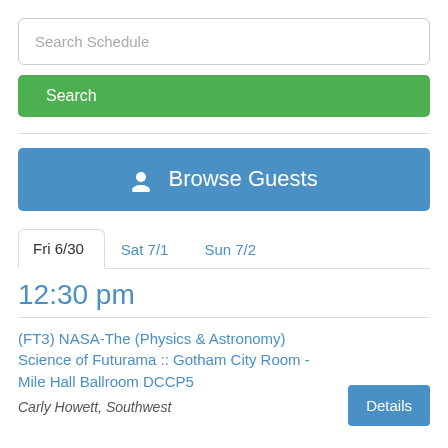Search Schedule
Search
Browse Guests
Fri 6/30
Sat 7/1
Sun 7/2
12:30 pm
(FT3) NASA-The (Physics & Astronomy) Science of Futurama :: Gotham City Room - Mile Hall Ballroom DCCP5
Carly Howett, Southwest
Details